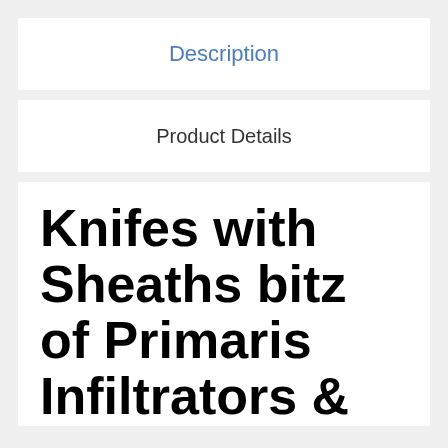Description
Product Details
Knifes with Sheaths bitz of Primaris Infiltrators & Primaris